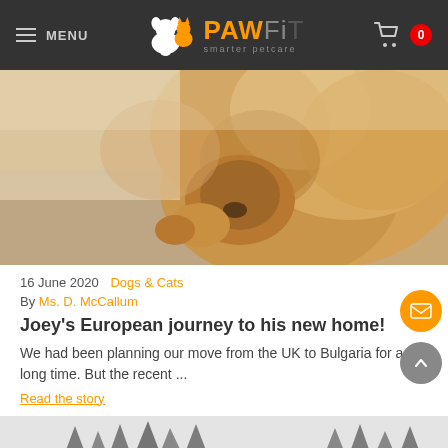MENU | PAWFIT smarter petcare | 0
[Figure (photo): Close-up photo of a fluffy light brown curly-haired dog resting on a textured fabric surface]
16 June 2020   Dogs & Cats
By Ms. D. McCallum
Joey's European journey to his new home!
We had been planning our move from the UK to Bulgaria for a long time. But the recent ...
Read the story
[Figure (photo): Black and white photo of a snowy winter landscape with trees in the background]